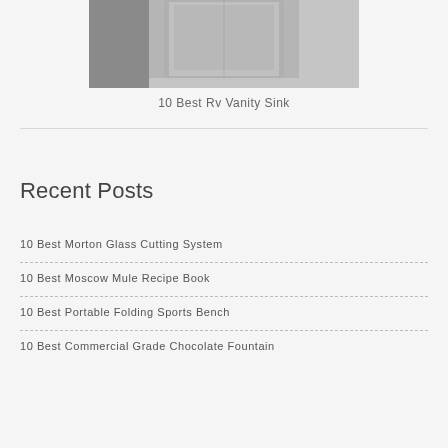[Figure (photo): Grayscale photo of an RV vanity sink interior]
10 Best Rv Vanity Sink
Recent Posts
10 Best Morton Glass Cutting System
10 Best Moscow Mule Recipe Book
10 Best Portable Folding Sports Bench
10 Best Commercial Grade Chocolate Fountain